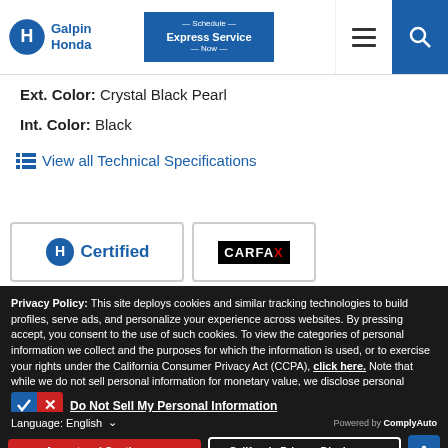Galpin Honda | Schedule Express Service Now
Ext. Color: Crystal Black Pearl
Int. Color: Black
View all Technical Specifications
[Figure (logo): Honda Certified badge and CARFAX Certified Pre-Owned badge]
Privacy Policy: This site deploys cookies and similar tracking technologies to build profiles, serve ads, and personalize your experience across websites. By pressing accept, you consent to the use of such cookies. To view the categories of personal information we collect and the purposes for which the information is used, or to exercise your rights under the California Consumer Privacy Act (CCPA), click here. Note that while we do not sell personal information for monetary value, we disclose personal information to third parties, such as vehicle manufacturers, in such a way that may be considered a "sale" of personal information under the CCPA. To direct us to stop the sale of your personal information, or to re-access these settings or disclosures at anytime, click the following icon or link:
Do Not Sell My Personal Information
Language: English | Powered by ComplyAuto
Accept and Continue → | California Privacy Disclosures